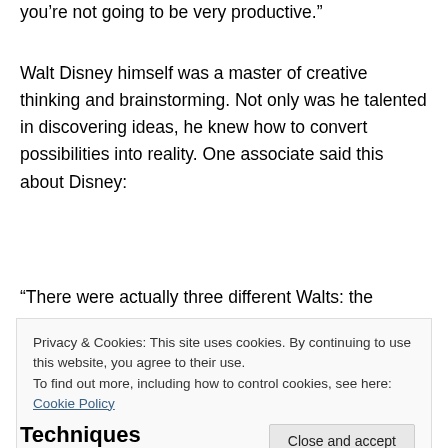you’re not going to be very productive.”
Walt Disney himself was a master of creative thinking and brainstorming. Not only was he talented in discovering ideas, he knew how to convert possibilities into reality. One associate said this about Disney:
“There were actually three different Walts: the
Privacy & Cookies: This site uses cookies. By continuing to use this website, you agree to their use.
To find out more, including how to control cookies, see here: Cookie Policy
Techniques